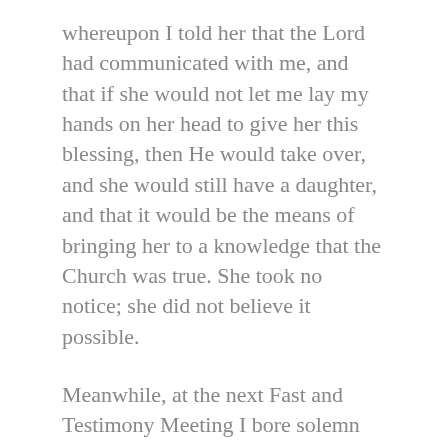whereupon I told her that the Lord had communicated with me, and that if she would not let me lay my hands on her head to give her this blessing, then He would take over, and she would still have a daughter, and that it would be the means of bringing her to a knowledge that the Church was true. She took no notice; she did not believe it possible.
Meanwhile, at the next Fast and Testimony Meeting I bore solemn testimony that she would have a daughter in 1961, as an evidence to get her to join the Church. When two months passed with no menstruation, Doreen decided to visit the doctor, who informed her that she was pregnant and a baby could be expected about March 18th